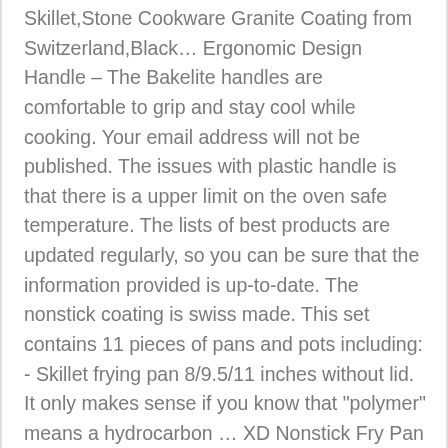Skillet,Stone Cookware Granite Coating from Switzerland,Black… Ergonomic Design Handle – The Bakelite handles are comfortable to grip and stay cool while cooking. Your email address will not be published. The issues with plastic handle is that there is a upper limit on the oven safe temperature. The lists of best products are updated regularly, so you can be sure that the information provided is up-to-date. The nonstick coating is swiss made. This set contains 11 pieces of pans and pots including: - Skillet frying pan 8/9.5/11 inches without lid. It only makes sense if you know that "polymer" means a hydrocarbon … XD Nonstick Fry Pan 11" (28cm) $89.95. The nonstick coating makes this type of cookware very easy to clean. This makes it a good partner for people who are pursuing a healthy lifestyle. 2-Quart Sauce Pan with Glass Lid . While that is relatively short. The method used for coating